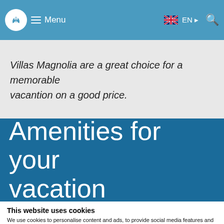se comfy houses. Menu EN ▸ 🔍
Villas Magnolia are a great choice for a memorable vacantion on a good price.
Amenities for your vacation
This website uses cookies
We use cookies to personalise content and ads, to provide social media features and to analyse our traffic. We also share information about your use of our site with our social media, advertising and analytics partners who may combine it with other information that you've provided to them or that they've collected from your use of their services. You consent to our cookies if you continue to use our website.
✓ Necessary  ✓ Statistics  Show details ▾  OK